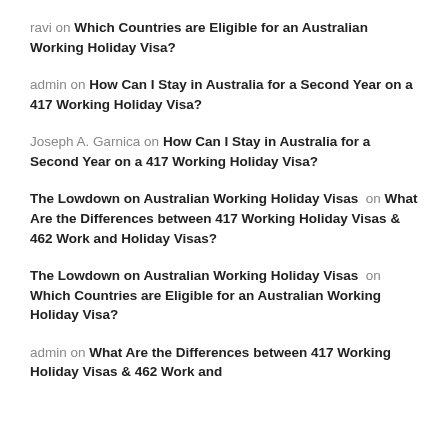ravi on Which Countries are Eligible for an Australian Working Holiday Visa?
admin on How Can I Stay in Australia for a Second Year on a 417 Working Holiday Visa?
Joseph A. Garnica on How Can I Stay in Australia for a Second Year on a 417 Working Holiday Visa?
The Lowdown on Australian Working Holiday Visas on What Are the Differences between 417 Working Holiday Visas & 462 Work and Holiday Visas?
The Lowdown on Australian Working Holiday Visas on Which Countries are Eligible for an Australian Working Holiday Visa?
admin on What Are the Differences between 417 Working Holiday Visas & 462 Work and